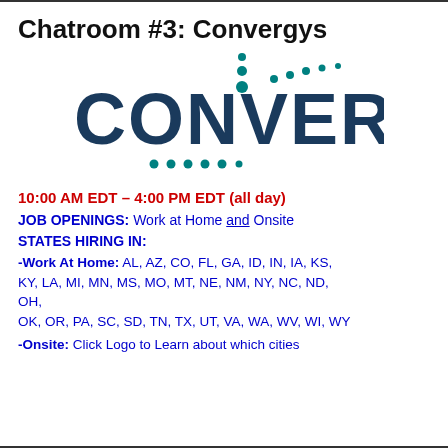Chatroom #3: Convergys
[Figure (logo): Convergys logo: large dark blue text 'CONVERGYS' with teal dots arranged above and below the letters]
10:00 AM EDT – 4:00 PM EDT (all day)
JOB OPENINGS: Work at Home and Onsite
STATES HIRING IN:
-Work At Home: AL, AZ, CO, FL, GA, ID, IN, IA, KS, KY, LA, MI, MN, MS, MO, MT, NE, NM, NY, NC, ND, OH, OK, OR, PA, SC, SD, TN, TX, UT, VA, WA, WV, WI, WY
-Onsite: Click Logo to Learn about which cities